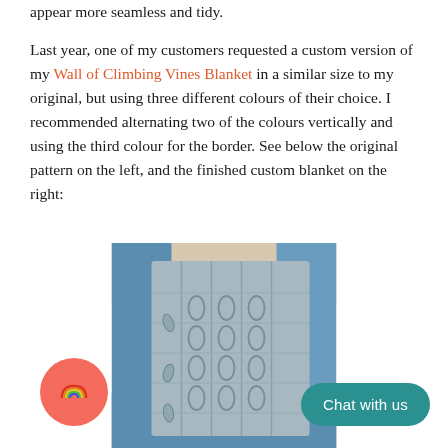appear more seamless and tidy.

Last year, one of my customers requested a custom version of my Wall of Climbing Vines Blanket in a similar size to my original, but using three different colours of their choice. I recommended alternating two of the colours vertically and using the third colour for the border. See below the original pattern on the left, and the finished custom blanket on the right:
[Figure (photo): A grey crocheted blanket with cable and climbing vines texture, draped over a blue couch/cushion.]